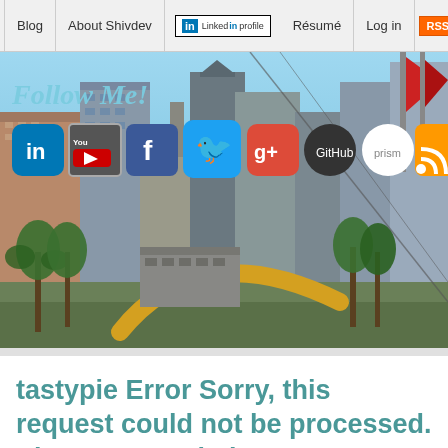Blog | About Shivdev | Linked in profile | Résumé | Log in | RSS
[Figure (photo): City skyline banner with Follow Me text and social media icons (LinkedIn, YouTube, Facebook, Twitter, Google+, GitHub, Pinwheel, RSS). San Francisco cityscape with palm trees and a boomerang sculpture in the foreground.]
tastypie Error Sorry, this request could not be processed. Please try again later.
Writing by shivdev on Wednesday, 17 of December , 2014 at 4:10 am
Check the logs for the general issues.